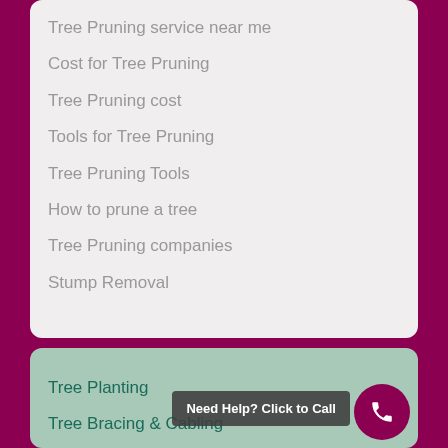Tree Pruning service near me
Cost for Tree Pruning
Tree Pruning cost
Tools for Tree Pruning
Tree Pruning Tools
How to prune a tree
Tree Pruning companies
Stump Removal
Tree Planting
Tree Bracing & Cabling
Deep root injection Florida
Residential Tree Services
Commercial Tree Services Florida